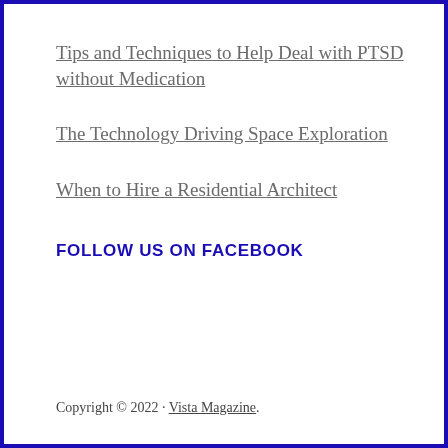Tips and Techniques to Help Deal with PTSD without Medication
The Technology Driving Space Exploration
When to Hire a Residential Architect
FOLLOW US ON FACEBOOK
Copyright © 2022 · Vista Magazine.